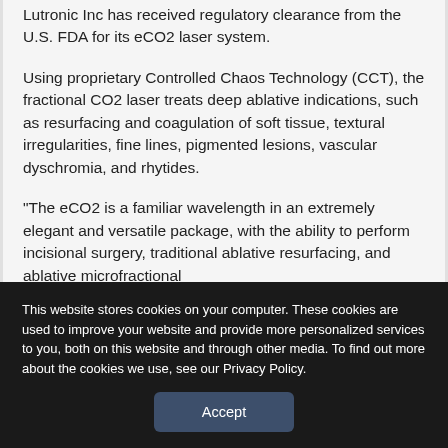Lutronic Inc has received regulatory clearance from the U.S. FDA for its eCO2 laser system.
Using proprietary Controlled Chaos Technology (CCT), the fractional CO2 laser treats deep ablative indications, such as resurfacing and coagulation of soft tissue, textural irregularities, fine lines, pigmented lesions, vascular dyschromia, and rhytides.
"The eCO2 is a familiar wavelength in an extremely elegant and versatile package, with the ability to perform incisional surgery, traditional ablative resurfacing, and ablative microfractional
This website stores cookies on your computer. These cookies are used to improve your website and provide more personalized services to you, both on this website and through other media. To find out more about the cookies we use, see our Privacy Policy.